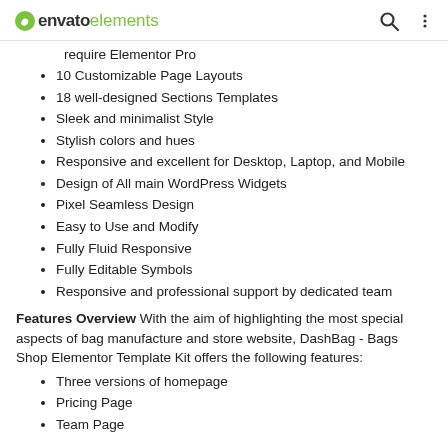envato elements
require Elementor Pro
10 Customizable Page Layouts
18 well-designed Sections Templates
Sleek and minimalist Style
Stylish colors and hues
Responsive and excellent for Desktop, Laptop, and Mobile
Design of All main WordPress Widgets
Pixel Seamless Design
Easy to Use and Modify
Fully Fluid Responsive
Fully Editable Symbols
Responsive and professional support by dedicated team
Features Overview With the aim of highlighting the most special aspects of bag manufacture and store website, DashBag - Bags Shop Elementor Template Kit offers the following features:
Three versions of homepage
Pricing Page
Team Page